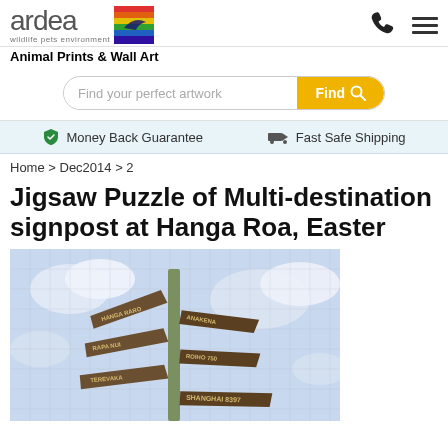[Figure (logo): Ardea wildlife pets environment logo with rainbow colored bird illustration]
Animal Prints & Wall Art
[Figure (other): Search bar with 'Find your perfect artwork' placeholder and yellow Find button]
Money Back Guarantee   Fast Safe Shipping
Home > Dec2014 > 2
Jigsaw Puzzle of Multi-destination signpost at Hanga Roa, Easter
[Figure (photo): Jigsaw puzzle photo of a multi-destination signpost at Hanga Roa, Easter Island, showing wooden directional signs pointing various directions including SHANGHAI, against a cloudy sky background]